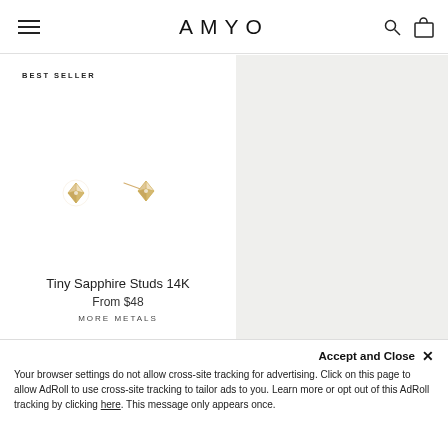AMYO
BEST SELLER
[Figure (photo): Two tiny sapphire stud earrings in 14K gold on white background]
Tiny Sapphire Studs 14K
From $48
MORE METALS
Accept and Close ✕
Your browser settings do not allow cross-site tracking for advertising. Click on this page to allow AdRoll to use cross-site tracking to tailor ads to you. Learn more or opt out of this AdRoll tracking by clicking here. This message only appears once.